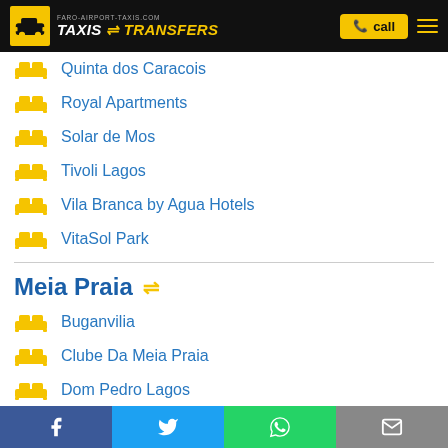faro-airport-taxis.com TAXIS & TRANSFERS | call
Quinta dos Caracois
Royal Apartments
Solar de Mos
Tivoli Lagos
Vila Branca by Agua Hotels
VitaSol Park
Meia Praia
Buganvilia
Clube Da Meia Praia
Dom Pedro Lagos
Hotel Marina S. Roque
Facebook | Twitter | WhatsApp | Email